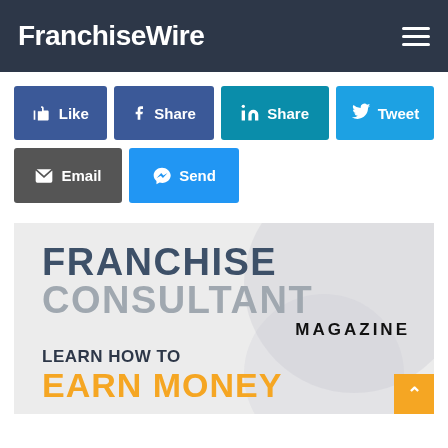FranchiseWire
[Figure (infographic): Social sharing buttons: Like (Facebook), Share (Facebook), Share (LinkedIn), Tweet (Twitter), Email, Send (Messenger)]
[Figure (infographic): Franchise Consultant Magazine advertisement banner with text: FRANCHISE CONSULTANT MAGAZINE LEARN HOW TO EARN MONEY]